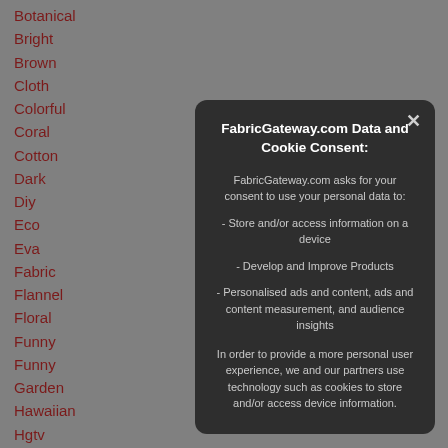Botanical
Bright
Brown
Cloth
Colorful
Coral
Cotton
Dark
Diy
Eco
Eva
Fabric
Flannel
Floral
Funny
Funny
Garden
Hawaiian
Hgtv
Hibiscus
Hippie
Leaf
Light
FabricGateway.com Data and Cookie Consent:
FabricGateway.com asks for your consent to use your personal data to:
- Store and/or access information on a device
- Develop and Improve Products
- Personalised ads and content, ads and content measurement, and audience insights
In order to provide a more personal user experience, we and our partners use technology such as cookies to store and/or access device information.